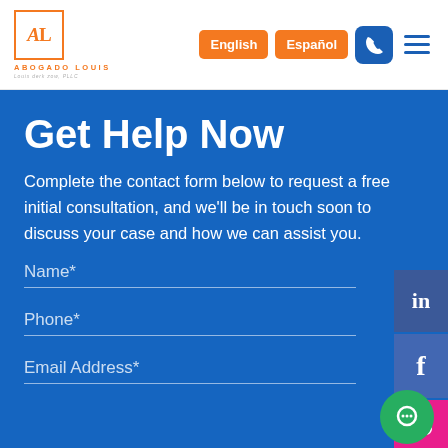[Figure (logo): Abogado Louis law firm logo — orange AL letters in a square box, with text ABOGADO LOUIS Louis Derk Zow, PLLC]
English
Español
Get Help Now
Complete the contact form below to request a free initial consultation, and we'll be in touch soon to discuss your case and how we can assist you.
Name*
Phone*
Email Address*